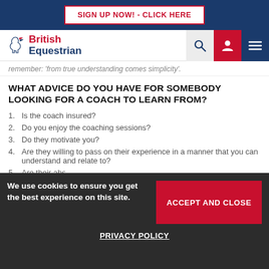SIGN UP NOW! - CLICK HERE
[Figure (logo): British Equestrian logo with horse head icon and navigation icons (search, profile, hamburger menu)]
remember: 'from true understanding comes simplicity'.
WHAT ADVICE DO YOU HAVE FOR SOMEBODY LOOKING FOR A COACH TO LEARN FROM?
Is the coach insured?
Do you enjoy the coaching sessions?
Do they motivate you?
Are they willing to pass on their experience in a manner that you can understand and relate to?
We use cookies to ensure you get the best experience on this site.
ACCEPT AND CLOSE
PRIVACY POLICY